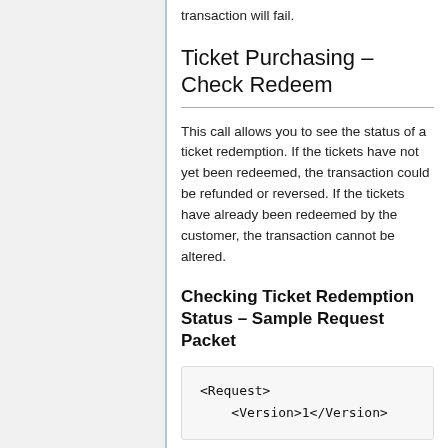transaction will fail.
Ticket Purchasing – Check Redeem
This call allows you to see the status of a ticket redemption. If the tickets have not yet been redeemed, the transaction could be refunded or reversed. If the tickets have already been redeemed by the customer, the transaction cannot be altered.
Checking Ticket Redemption Status – Sample Request Packet
<Request>
    <Version>1</Version>